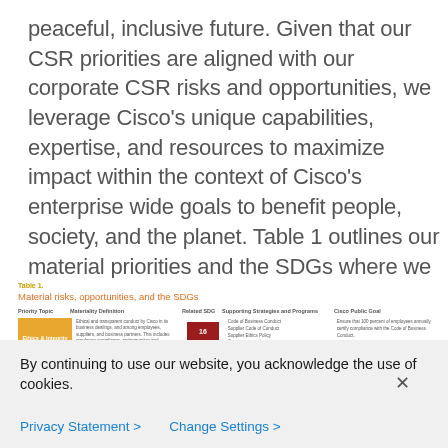peaceful, inclusive future. Given that our CSR priorities are aligned with our corporate CSR risks and opportunities, we leverage Cisco's unique capabilities, expertise, and resources to maximize impact within the context of Cisco's enterprise wide goals to benefit people, society, and the planet. Table 1 outlines our material priorities and the SDGs where we believe Cisco's CSR programs are having a positive impact.
[Figure (table-as-image): Table 1: Material risks, opportunities, and the SDGs — showing Priority Topic, Materiality Definition, Related SDG, Supporting Strategies and Programs, and Cisco Public Goal. Row 1: Ethics & Integrity. Row 2: Employee Training & Development.]
By continuing to use our website, you acknowledge the use of cookies.
Privacy Statement > Change Settings >